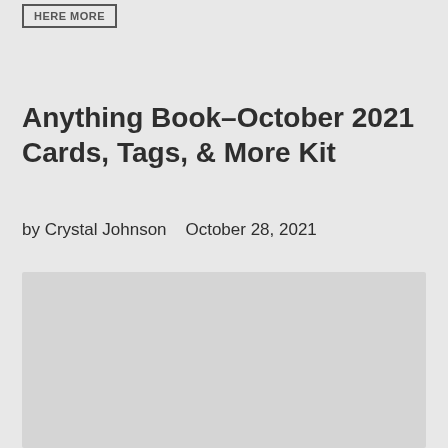HERE MORE
Anything Book–October 2021 Cards, Tags, & More Kit
by Crystal Johnson   October 28, 2021
[Figure (photo): Large image placeholder area, light gray, partially visible at bottom of page]